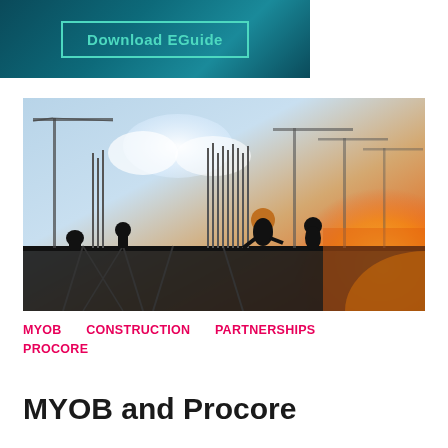[Figure (screenshot): Dark teal/blue banner with a teal-bordered button reading 'Download EGuide']
[Figure (photo): Construction workers silhouetted on a building scaffold against a warm sunset sky with cranes in the background]
MYOB   CONSTRUCTION   PARTNERSHIPS   PROCORE
MYOB and Procore